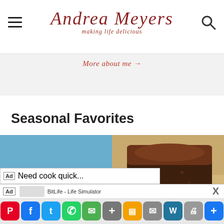Andrea Meyers - making life delicious
More about me →
Seasonal Favorites
[Figure (photo): Black beans and rice in a green bowl with cilantro garnish on a blue cloth]
[Figure (photo): Sliced dark chocolate loaf bread on a wooden cutting board]